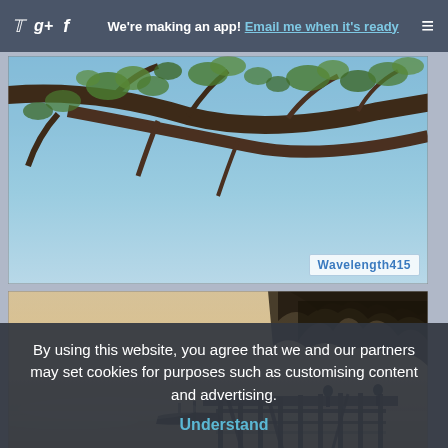We're making an app! Email me when it's ready
[Figure (photo): Partial view of tree branches with green leaves against a blue sky]
[Figure (photo): Misty lake scene at dawn with a wooden dock/pier and silhouettes of people, warm golden-orange fog, dark tree line in background]
By using this website, you agree that we and our partners may set cookies for purposes such as customising content and advertising.
Understand